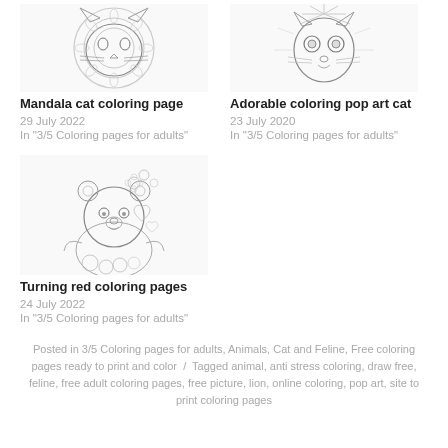[Figure (illustration): Mandala cat coloring page thumbnail - intricate mandala-style cat face line drawing]
Mandala cat coloring page
29 July 2022
In "3/5 Coloring pages for adults"
[Figure (illustration): Adorable coloring pop art cat thumbnail - pop art style cat line drawing]
Adorable coloring pop art cat
23 July 2020
In "3/5 Coloring pages for adults"
[Figure (illustration): Turning red coloring pages thumbnail - cute bear/panda with flowers and hearts line drawing]
Turning red coloring pages
24 July 2022
In "3/5 Coloring pages for adults"
Posted in 3/5 Coloring pages for adults, Animals, Cat and Feline, Free coloring pages ready to print and color / Tagged animal, anti stress coloring, draw free, feline, free adult coloring pages, free picture, lion, online coloring, pop art, site to print coloring pages